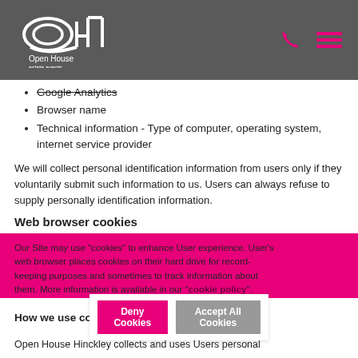Open House Estate Agents
Google Analytics
Browser name
Technical information - Type of computer, operating system, internet service provider
We will collect personal identification information from users only if they voluntarily submit such information to us. Users can always refuse to supply personally identification information.
Web browser cookies
Our Site may use "cookies" to enhance User experience. User's web browser places cookies on their hard drive for record-keeping purposes and sometimes to track information about them. More information is available in our "cookie policy".
By continuing to browse or by clicking “Accept All Cookies” you agree to the storing of first and third-party cookies on your device to enhance site navigation, analyse site usage, and assist in our marketing efforts.  Review our Cookie Policy here.
How we use collected information
Open House Hinckley collects and uses Users personal